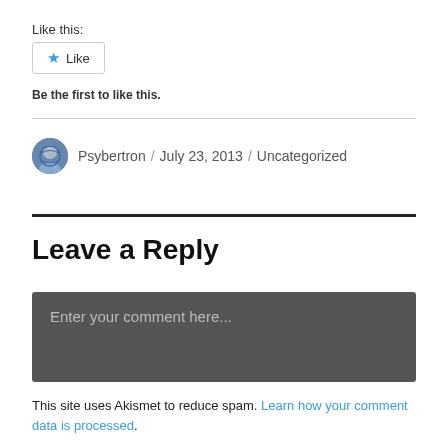Like this:
★ Like
Be the first to like this.
Psybertron / July 23, 2013 / Uncategorized
Leave a Reply
Enter your comment here...
This site uses Akismet to reduce spam. Learn how your comment data is processed.